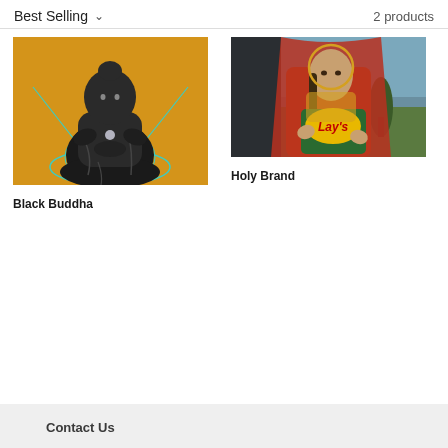Best Selling ∨
2 products
[Figure (illustration): Painting of a black Buddha statue seated in meditation pose on an orange background with teal geometric lines]
Black Buddha
[Figure (illustration): Painting of a woman in red robes with a golden halo holding a green bag of Lay's chips, set against a landscape background]
Holy Brand
Contact Us